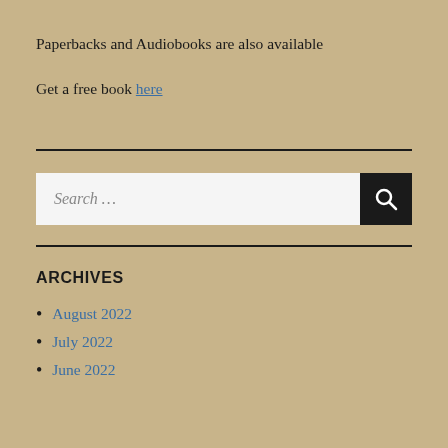Paperbacks and Audiobooks are also available
Get a free book here
[Figure (other): Search bar with text 'Search ...' and a black search button with magnifying glass icon]
ARCHIVES
August 2022
July 2022
June 2022